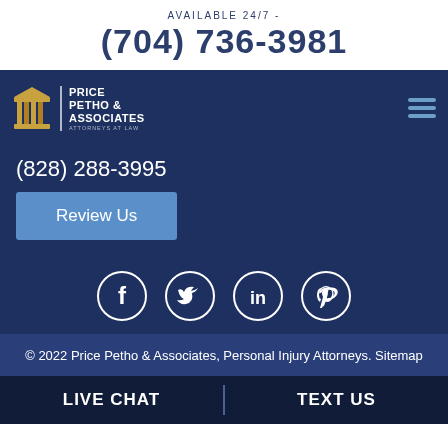AVAILABLE 24/7 -
(704) 736-3981
[Figure (logo): Price Petho & Associates Attorneys at Law logo with gold pillar icon]
(828) 288-3995
Review Us
[Figure (infographic): Social media icons row: Facebook, Twitter, LinkedIn, Pinterest — white outlines on dark blue circles]
© 2022 Price Petho & Associates, Personal Injury Attorneys. Sitemap
LIVE CHAT
TEXT US